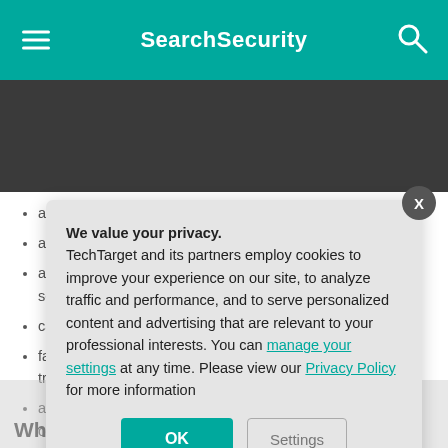SearchSecurity
automatic negotiation and authentication;
anti-replay s...;
ability to cha... session;
calculating s...;
fast connecti... traversal;
attempts to m... connection c...;
supports a v... and smartph...;
prevents Do...;
Wh...
We value your privacy.
TechTarget and its partners employ cookies to improve your experience on our site, to analyze traffic and performance, and to serve personalized content and advertising that are relevant to your professional interests. You can manage your settings at any time. Please view our Privacy Policy for more information